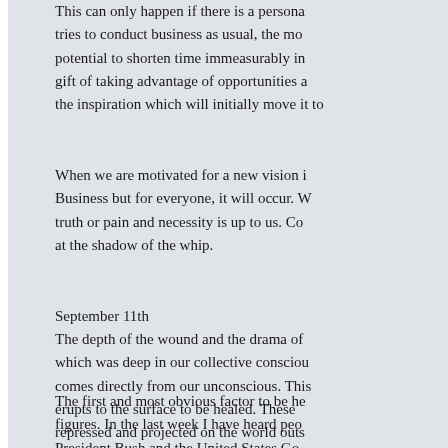This can only happen if there is a persona tries to conduct business as usual, the mo potential to shorten time immeasurably in gift of taking advantage of opportunities a the inspiration which will initially move it to
When we are motivated for a new vision i Business but for everyone, it will occur. W truth or pain and necessity is up to us. Co at the shadow of the whip.
September 11th
The depth of the wound and the drama of which was deep in our collective consciou comes directly from our unconscious. This erupts to the surface to be healed. These repressed and projected on the world outs
The first and most obvious factor to be he figures. In the last week I have heard peo President Bush and the United States Go Obviously, terrorist shadow figures reflect unconscious minds. We must each find th